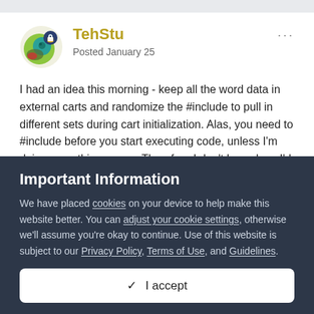[Figure (illustration): User avatar: circular icon with green and teal design, overlaid with a small dark shield/lock badge in the top right]
TehStu
Posted January 25
I had an idea this morning - keep all the word data in external carts and randomize the #include to pull in different sets during cart initialization. Alas, you need to #include before you start executing code, unless I'm doing something wrong. Therefore I don't know how I'd randomize which data cart to #include, unless some external mechanism is renaming the cart. That's not going to help pico8 carts distributed on devices or built for html/js
Important Information
We have placed cookies on your device to help make this website better. You can adjust your cookie settings, otherwise we'll assume you're okay to continue. Use of this website is subject to our Privacy Policy, Terms of Use, and Guidelines.
✓ I accept